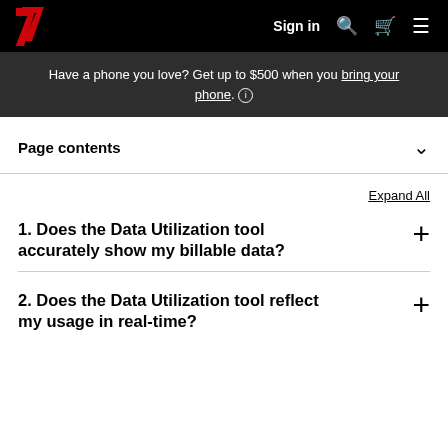Verizon | Sign in
Have a phone you love? Get up to $500 when you bring your phone.
Page contents
Expand All
1. Does the Data Utilization tool accurately show my billable data?
2. Does the Data Utilization tool reflect my usage in real-time?